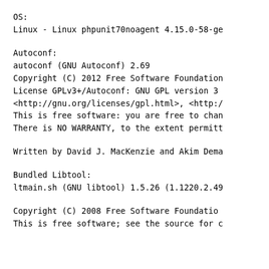OS:
Linux - Linux phpunit70noagent 4.15.0-58-ge
Autoconf:
autoconf (GNU Autoconf) 2.69
Copyright (C) 2012 Free Software Foundation
License GPLv3+/Autoconf: GNU GPL version 3
<http://gnu.org/licenses/gpl.html>, <http:/
This is free software: you are free to chan
There is NO WARRANTY, to the extent permitt
Written by David J. MacKenzie and Akim Dema
Bundled Libtool:
ltmain.sh (GNU libtool) 1.5.26 (1.1220.2.49
Copyright (C) 2008  Free Software Foundatio
This is free software; see the source for c